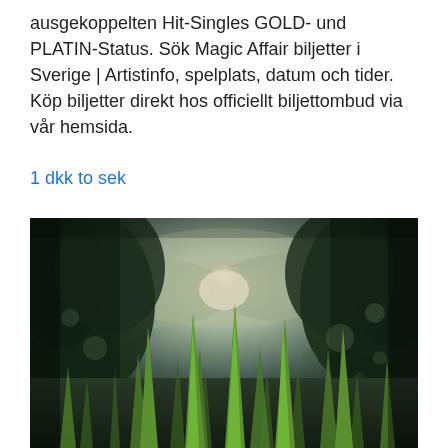ausgekoppelten Hit-Singles GOLD- und PLATIN-Status. Sök Magic Affair biljetter i Sverige | Artistinfo, spelplats, datum och tider. Köp biljetter direkt hos officiellt biljettombud via vår hemsida.
1 dkk to sek
[Figure (photo): Close-up ground-level photo of green grass blades in foreground, with trees and bright sunlight breaking through overcast sky in background. Dark moody tones with teal/green color grading.]